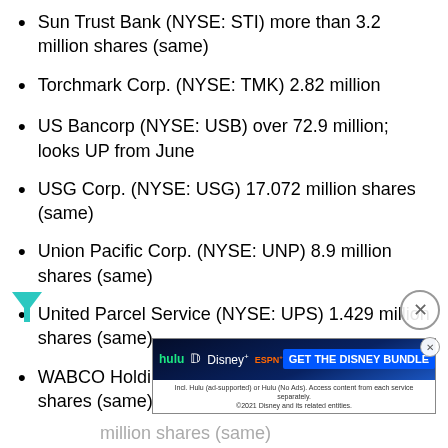Sun Trust Bank (NYSE: STI) more than 3.2 million shares (same)
Torchmark Corp. (NYSE: TMK) 2.82 million
US Bancorp (NYSE: USB) over 72.9 million; looks UP from June
USG Corp. (NYSE: USG) 17.072 million shares (same)
Union Pacific Corp. (NYSE: UNP) 8.9 million shares (same)
United Parcel Service (NYSE: UPS) 1.429 million shares (same)
WABCO Holdings (NYSE: WBC) 2.7 million shares (same)
[Figure (other): Advertisement banner: GET THE DISNEY BUNDLE - Hulu, Disney+, ESPN+]